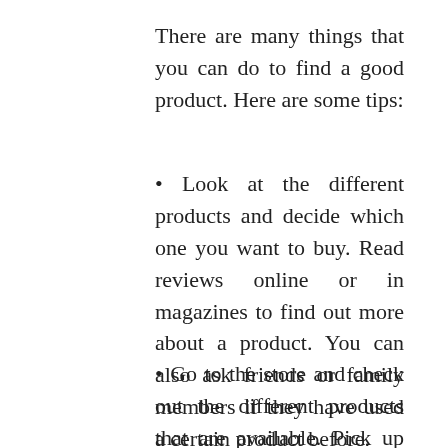There are many things that you can do to find a good product. Here are some tips:
Look at the different products and decide which one you want to buy. Read reviews online or in magazines to find out more about a product. You can also ask friends or family members if they have used a certain product before.
Go to the store and check out the different products that are available. Pick up each product and see how it feels, look at its